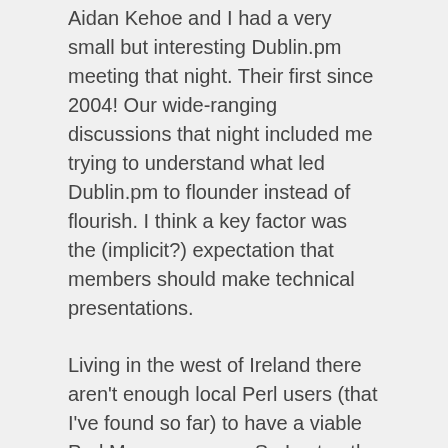Aidan Kehoe and I had a very small but interesting Dublin.pm meeting that night. Their first since 2004! Our wide-ranging discussions that night included me trying to understand what led Dublin.pm to flounder instead of flourish. I think a key factor was the (implicit?) expectation that members should make technical presentations.
Living in the west of Ireland there aren't enough local Perl users (that I've found so far) to have a viable Perl Mongers group. So I setup the Limerick Open Source meetup instead.
Here's what worked for us: We sit around in a quiet comfy hotel bar and chat. Naturally the chat tends towards the technical, and laptops are produced and turned around to illustrate a point or show results of a